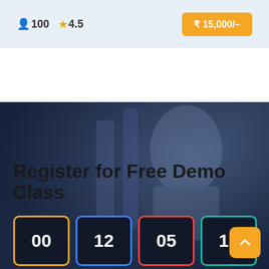100  ☆ 4.5
₹ 15,000/–
Register for Free Demo Class
[Figure (other): Countdown timer boxes showing 00, 12, 05, 19 with colored borders (yellow, blue, red, teal) on dark background]
[Figure (other): Scroll-to-top button with upward arrow, orange/yellow background, bottom right corner]